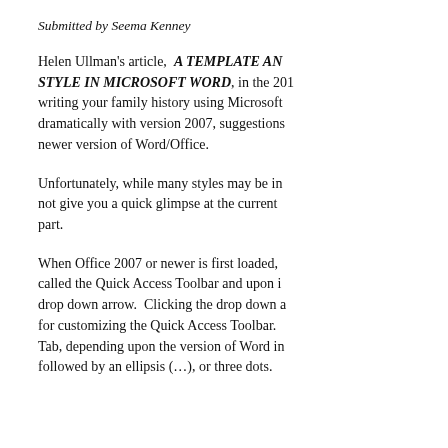Submitted by Seema Kenney
Helen Ullman's article,  A TEMPLATE AND STYLE IN MICROSOFT WORD, in the 201 writing your family history using Microsoft dramatically with version 2007, suggestions newer version of Word/Office.
Unfortunately, while many styles may be in not give you a quick glimpse at the current part.
When Office 2007 or newer is first loaded, called the Quick Access Toolbar and upon i drop down arrow.  Clicking the drop down a for customizing the Quick Access Toolbar. Tab, depending upon the version of Word in followed by an ellipsis (…), or three dots.